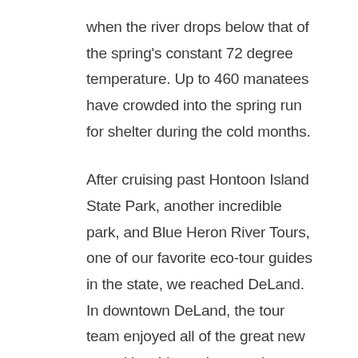when the river drops below that of the spring's constant 72 degree temperature. Up to 460 manatees have crowded into the spring run for shelter during the cold months.
After cruising past Hontoon Island State Park, another incredible park, and Blue Heron River Tours, one of our favorite eco-tour guides in the state, we reached DeLand. In downtown DeLand, the tour team enjoyed all of the great new amenities this quaint town has to offer! We look forward to another great day on the water tomorrow!
Follow the Tour on Facebook, Twitter,